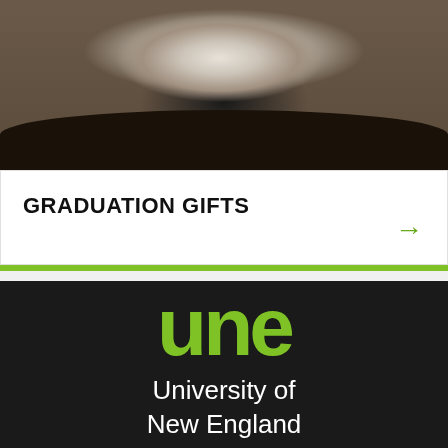[Figure (photo): Photo of a fluffy black and white animal (likely a sheep or similar animal) on a wooden surface, viewed from above/behind]
GRADUATION GIFTS
[Figure (logo): University of New England (UNE) logo — green letters 'une' above white text 'University of New England' on a dark/black background with a green underline]